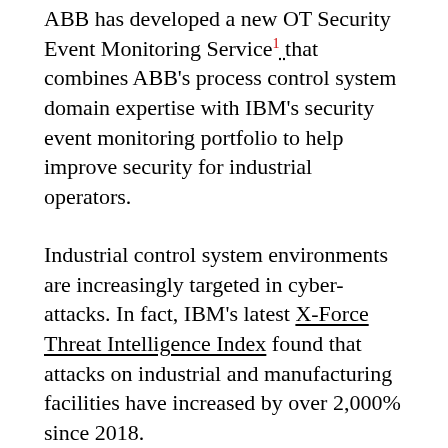ABB has developed a new OT Security Event Monitoring Service¹ that combines ABB's process control system domain expertise with IBM's security event monitoring portfolio to help improve security for industrial operators.
Industrial control system environments are increasingly targeted in cyber-attacks. In fact, IBM's latest X-Force Threat Intelligence Index found that attacks on industrial and manufacturing facilities have increased by over 2,000% since 2018.
To better connect OT data with the broader IT security ecosystem, ABB has developed a new offering that allows security events from ABB to be sent to IBM's security information and event management platform known as QRadar.
The ABB solution was designed according to a reference architecture jointly developed by ABB and